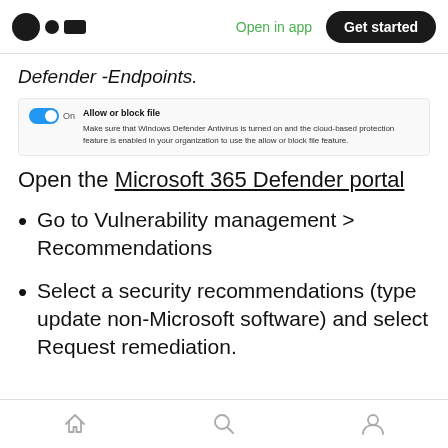Open in app | Get started
Defender -Endpoints.
[Figure (screenshot): UI toggle switch set to On for 'Allow or block file' setting with descriptive text about Windows Defender Antivirus cloud-based protection]
Open the Microsoft 365 Defender portal
Go to Vulnerability management > Recommendations
Select a security recommendations (type update non-Microsoft software) and select Request remediation.
Home | Search | Profile